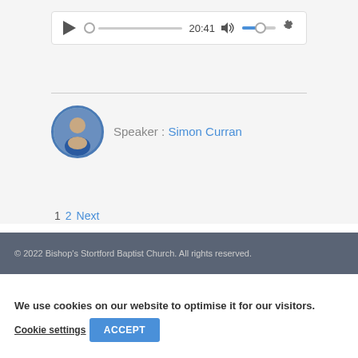[Figure (screenshot): Audio player widget with play button, progress bar, timestamp 20:41, volume control, and settings gear icon]
Speaker : Simon Curran
1 2 Next
© 2022 Bishop's Stortford Baptist Church. All rights reserved.
We use cookies on our website to optimise it for our visitors.
Cookie settings   ACCEPT